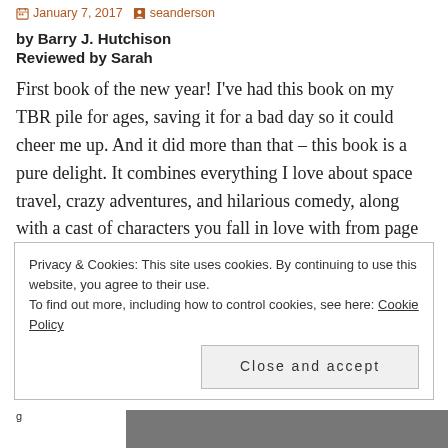January 7, 2017   seanderson
by Barry J. Hutchison
Reviewed by Sarah
First book of the new year! I've had this book on my TBR pile for ages, saving it for a bad day so it could cheer me up. And it did more than that – this book is a pure delight. It combines everything I love about space travel, crazy adventures, and hilarious comedy, along with a cast of characters you fall in love with from page one. Hold on to your seats – this book is Fonking hilarious.
Privacy & Cookies: This site uses cookies. By continuing to use this website, you agree to their use.
To find out more, including how to control cookies, see here: Cookie Policy
Close and accept